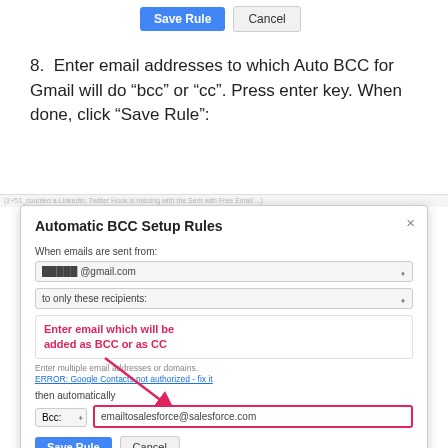[Figure (screenshot): Save Rule and Cancel buttons at the top of the page]
8.  Enter email addresses to which Auto BCC for Gmail will do “bcc” or “cc”. Press enter key. When done, click “Save Rule”:
[Figure (screenshot): Automatic BCC Setup Rules dialog box showing fields: When emails are sent from (dropdown with @gmail.com), to only these recipients (dropdown), an email input box with annotation 'Enter email which will be added as BCC or as CC' in red bold text, hint text 'Enter multiple email addresses or domains.', error 'ERROR: Google Contacts not authorized - fix it', then automatically section with Bcc dropdown and input field showing emailtosalesforce@salesforce.com highlighted in red border, and a pink arrow pointing to the input field. Save Rule and Cancel buttons at the bottom.]